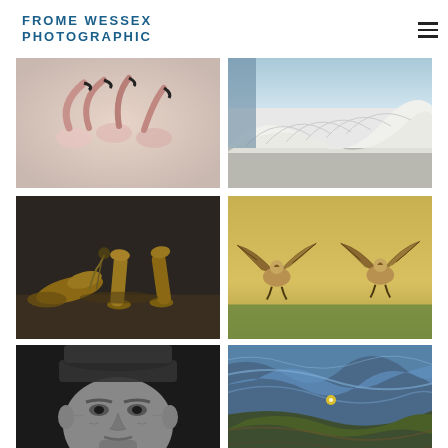FROME WESSEX PHOTOGRAPHIC
[Figure (photo): Flamingos with long curved necks, soft pink and white tones, multiple birds clustered together against a pale background]
[Figure (photo): Modern white architectural structure with curved flowing roof forms and ribbed surfaces, viewed at low angle]
[Figure (photo): Still life arrangement of golden wooden shoe lasts and bowling pin shapes on a dark wooden surface]
[Figure (photo): Two birds of prey (hawks or buzzards) with wings spread landing or fighting on green grass against a golden-yellow background]
[Figure (photo): Black and white portrait of an elderly man wearing a flat cap, intense gaze, deeply lined face]
[Figure (photo): Abstract water reflection with swirling blue, dark green, and brown colors creating a painterly distorted pattern]